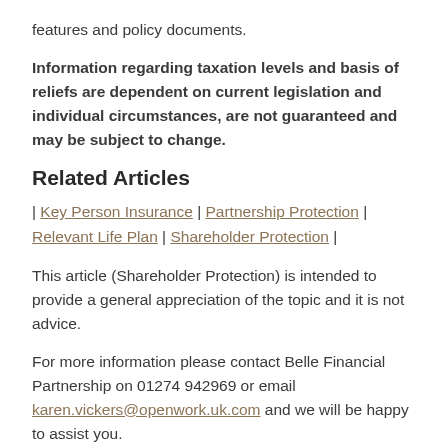features and policy documents.
Information regarding taxation levels and basis of reliefs are dependent on current legislation and individual circumstances, are not guaranteed and may be subject to change.
Related Articles
| Key Person Insurance | Partnership Protection | Relevant Life Plan | Shareholder Protection |
This article (Shareholder Protection) is intended to provide a general appreciation of the topic and it is not advice.
For more information please contact Belle Financial Partnership on 01274 942969 or email karen.vickers@openwork.uk.com and we will be happy to assist you.